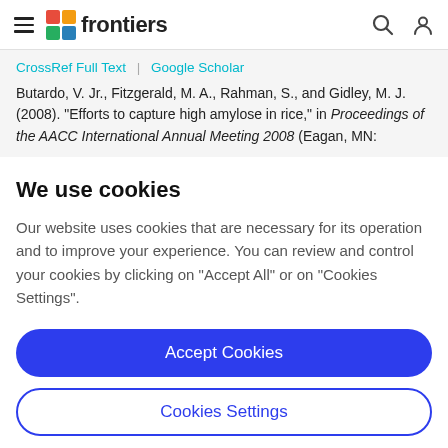frontiers
CrossRef Full Text | Google Scholar
Butardo, V. Jr., Fitzgerald, M. A., Rahman, S., and Gidley, M. J. (2008). "Efforts to capture high amylose in rice," in Proceedings of the AACC International Annual Meeting 2008 (Eagan, MN:
We use cookies
Our website uses cookies that are necessary for its operation and to improve your experience. You can review and control your cookies by clicking on "Accept All" or on "Cookies Settings".
Accept Cookies
Cookies Settings